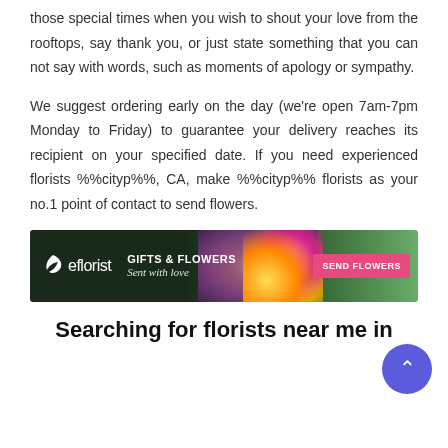those special times when you wish to shout your love from the rooftops, say thank you, or just state something that you can not say with words, such as moments of apology or sympathy.
We suggest ordering early on the day (we're open 7am-7pm Monday to Friday) to guarantee your delivery reaches its recipient on your specified date. If you need experienced florists %%cityp%%, CA, make %%cityp%% florists as your no.1 point of contact to send flowers.
[Figure (infographic): eflorist advertisement banner with dark green background, logo, 'GIFTS & FLOWERS Sent with love' text, flowers and person in background, pink 'SEND FLOWERS' button on right]
Searching for florists near me in